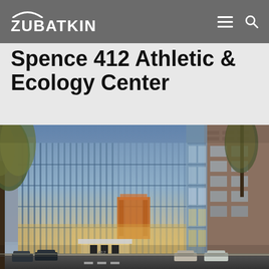ZUBATKIN
Spence 412 Athletic & Ecology Center
[Figure (photo): Exterior photograph of the Spence 412 Athletic & Ecology Center building at dusk/evening. A modern multi-story glass and metal facade building with vertical fins. Warm interior lighting visible through the glass. Trees with autumn foliage in the foreground. Adjacent brick buildings on the right. Street level with parked cars and a crosswalk visible.]